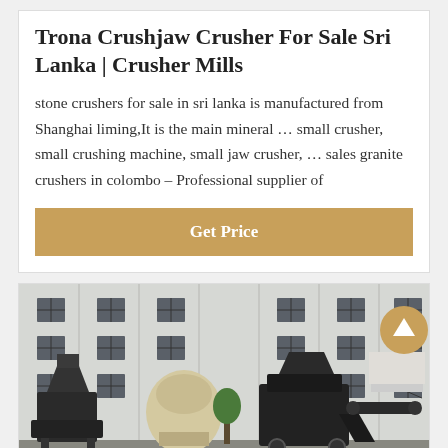Trona Crushjaw Crusher For Sale Sri Lanka | Crusher Mills
stone crushers for sale in sri lanka is manufactured from Shanghai liming,It is the main mineral … small crusher, small crushing machine, small jaw crusher, … sales granite crushers in colombo – Professional supplier of
[Figure (other): Gold/tan colored 'Get Price' button]
[Figure (photo): Photo of industrial stone crusher machines parked in front of a large white factory building with grid windows]